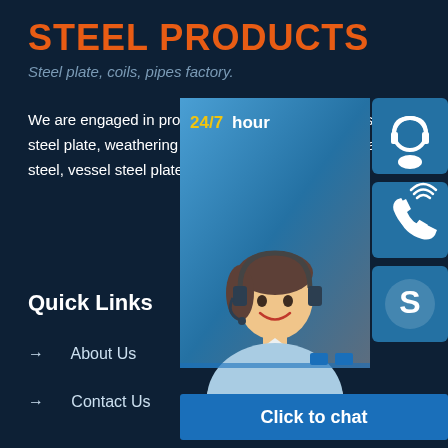STEEL PRODUCTS
Steel plate, coils, pipes factory.
We are engaged in producing and selling wear resistant steel plate, weathering strength carbon steel plate, alloy steel, vessel steel plate, we aslo produce steel on.
[Figure (infographic): 24/7 hour customer support chat widget with photo of smiling customer service agent, three blue icon buttons (headset, phone, Skype) and a 'Click to chat' bar at bottom]
Quick Links
→  About Us
→  Contact Us